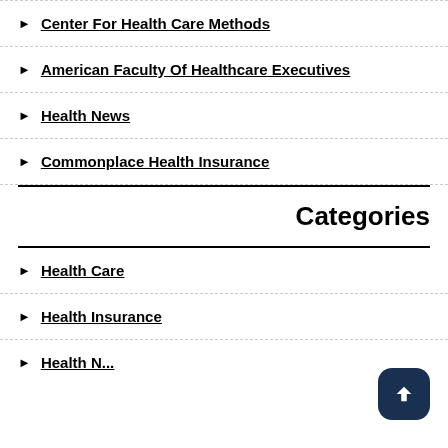Center For Health Care Methods
American Faculty Of Healthcare Executives
Health News
Commonplace Health Insurance
Categories
Health Care
Health Insurance
Health News